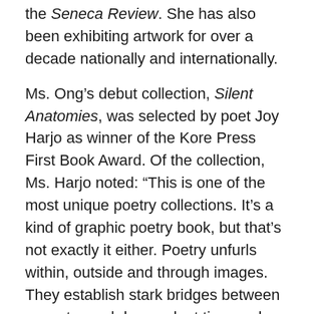the Seneca Review. She has also been exhibiting artwork for over a decade nationally and internationally.
Ms. Ong's debut collection, Silent Anatomies, was selected by poet Joy Harjo as winner of the Kore Press First Book Award. Of the collection, Ms. Harjo noted: “This is one of the most unique poetry collections. It’s a kind of graphic poetry book, but that’s not exactly it either. Poetry unfurls within, outside and through images. They establish stark bridges between ancestor and descendant time and presence. This collection is highly experimental and exciting.”
For more information and other work by Monica Ong, please visit her website: http://www.monicaong.com.